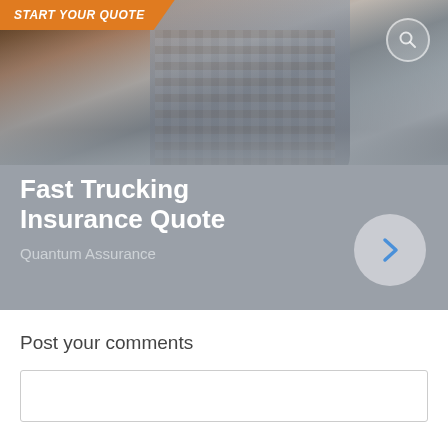[Figure (photo): Hero section showing a truck driver standing in front of semi-trucks, with an orange 'START YOUR QUOTE' badge in the top-left corner. The bottom half of the image has a gray overlay with white text. A circular arrow button is on the right.]
Fast Trucking Insurance Quote
Quantum Assurance
Post your comments